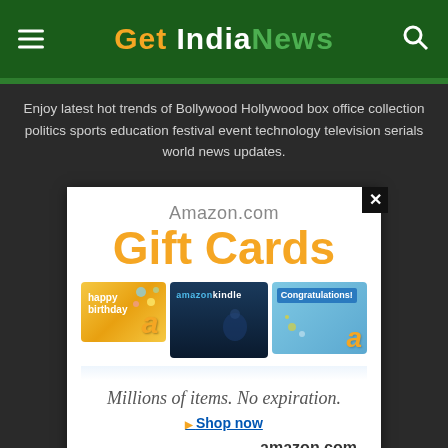Get India News
Enjoy latest hot trends of Bollywood Hollywood box office collection politics sports education festival event technology television serials world news updates.
[Figure (screenshot): Amazon.com Gift Cards advertisement showing three gift card images (Happy Birthday, Amazon Kindle, Congratulations), with text 'Millions of items. No expiration.' and a 'Shop now' link, along with amazon.com branding at bottom and a Privacy link.]